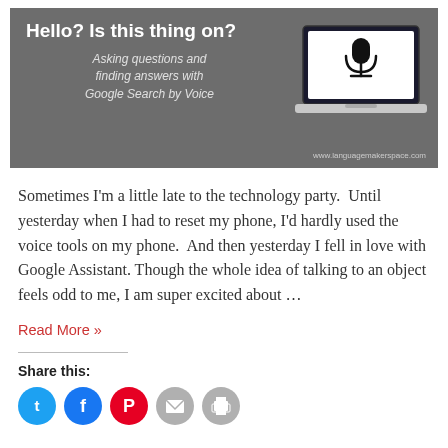[Figure (illustration): Dark gray banner with title 'Hello? Is this thing on?' and subtitle 'Asking questions and finding answers with Google Search by Voice', with a laptop illustration showing a microphone icon on screen.]
Sometimes I'm a little late to the technology party.  Until yesterday when I had to reset my phone, I'd hardly used the voice tools on my phone.  And then yesterday I fell in love with Google Assistant. Though the whole idea of talking to an object feels odd to me, I am super excited about …
Read More »
Share this: